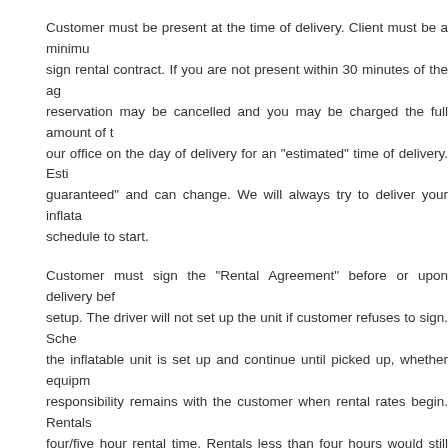Customer must be present at the time of delivery. Client must be a minimum to sign rental contract. If you are not present within 30 minutes of the agreed reservation may be cancelled and you may be charged the full amount of the rental. Call our office on the day of delivery for an "estimated" time of delivery. Estimated times are "not guaranteed" and can change. We will always try to deliver your inflatable before your schedule to start.
Customer must sign the "Rental Agreement" before or upon delivery before setup. The driver will not set up the unit if customer refuses to sign. Schedule begins when the inflatable unit is set up and continue until picked up, whether equipment is used or not. Full responsibility remains with the customer when rental rates begin. Rentals are based on a four/five hour rental time. Rentals less than four hours would still be charged the four hour minimum.
The inflatable unit can be only set up on grass, cement, concrete, asphalt, or any surface that is relatively flat. Customer is responsible for electrical and water requirements and a clear delivery path from truck drop-off to set-up point. A standard walk through gate; if a person can walk through, the inflatable unit will be able to go through as well. Customer area must be clear and clean. Please confirm watering system is operable and set-up area is clear. Wet or muddy areas will cause set-up to be cancelled at customer's full rental price. Slight walk through will be performed by the driver to ensure the setup side meets